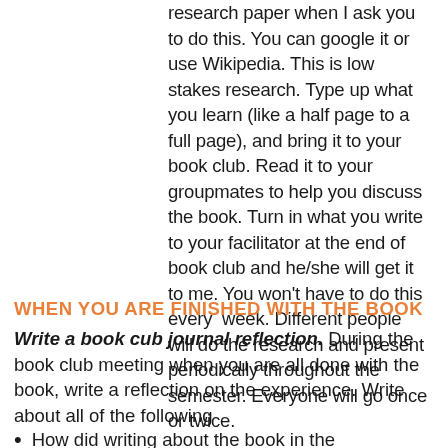research paper when I ask you to do this. You can google it or use Wikipedia. This is low stakes research. Type up what you learn (like a half page to a full page), and bring it to your book club. Read it to your groupmates to help you discuss the book. Turn in what you write to your facilitator at the end of book club and he/she will get it to me. You won't have to do this every week. Different people will do the research and present periodically throughout the semester. Everyone will go once or twice.
WHEN YOU ARE FINISHED WITH THE BOOK
Write a book cub journal reflection. During the book club meeting when you are all done with the book, write a reflection on the experience. Write about all of the following
How did writing about the book in the